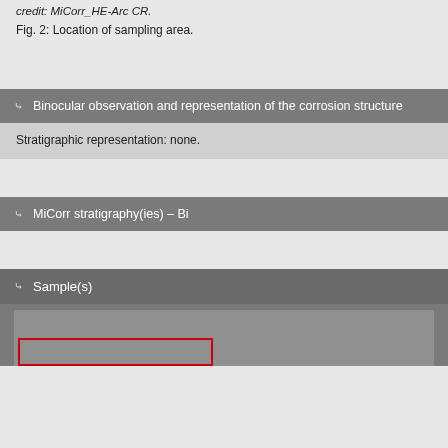credit: MiCorr_HE-Arc CR.
Fig. 2: Location of sampling area.
Binocular observation and representation of the corrosion structure
Stratigraphic representation: none.
MiCorr stratigraphy(ies) – Bi
Sample(s)
[Figure (photo): Photograph of a sample with a red rectangular highlight box indicating the sampling area]